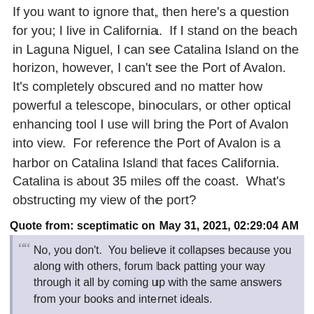If you want to ignore that, then here's a question for you; I live in California.  If I stand on the beach in Laguna Niguel, I can see Catalina Island on the horizon, however, I can't see the Port of Avalon.  It's completely obscured and no matter how powerful a telescope, binoculars, or other optical enhancing tool I use will bring the Port of Avalon into view.  For reference the Port of Avalon is a harbor on Catalina Island that faces California.  Catalina is about 35 miles off the coast.  What's obstructing my view of the port?
Quote from: sceptimatic on May 31, 2021, 02:29:04 AM
No, you don't.  You believe it collapses because you along with others, forum back patting your way through it all by coming up with the same answers from your books and internet ideals.
It collapses bro.  Like hard.  Sometimes we don't even need to try because of how fractured it is.  Simple logic dismantles most of it, like The Southern Cross paradox.  Other times, depending on how convoluted you guys like to spin a particular idea, it takes longer.  Sort of like your weird way of explaining how navigating with a compass works; you're either bad at explaining things or